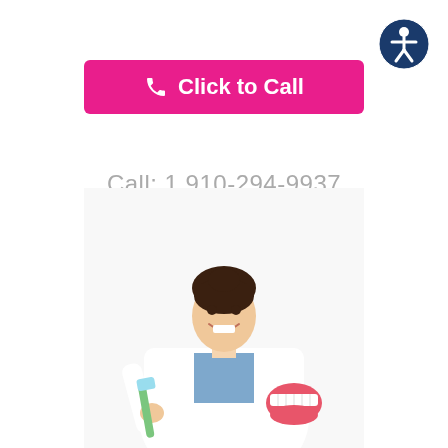[Figure (logo): Dark blue circular accessibility icon with white person figure, top right corner]
Click to Call
Call: 1 910-294-9937
[Figure (photo): Smiling female dentist in white lab coat holding a green toothbrush in one hand and a dental jaw model in the other hand]